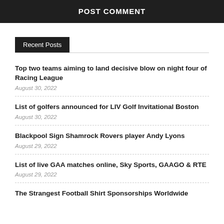POST COMMENT
Recent Posts
Top two teams aiming to land decisive blow on night four of Racing League
August 30, 2022
List of golfers announced for LIV Golf Invitational Boston
August 30, 2022
Blackpool Sign Shamrock Rovers player Andy Lyons
August 29, 2022
List of live GAA matches online, Sky Sports, GAAGO & RTE
August 29, 2022
The Strangest Football Shirt Sponsorships Worldwide